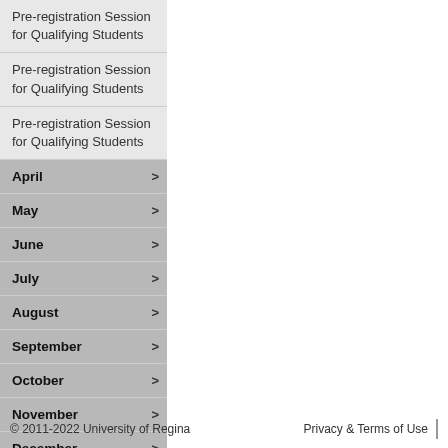Pre-registration Session for Qualifying Students
Pre-registration Session for Qualifying Students
Pre-registration Session for Qualifying Students
April
May
June
July
August
September
October
November
December
© 2011-2022 University of Regina    Privacy & Terms of Use